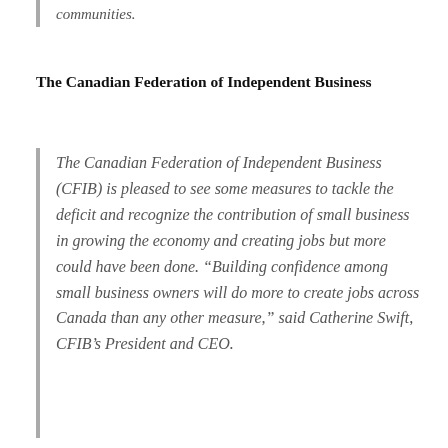communities.
The Canadian Federation of Independent Business
The Canadian Federation of Independent Business (CFIB) is pleased to see some measures to tackle the deficit and recognize the contribution of small business in growing the economy and creating jobs but more could have been done. “Building confidence among small business owners will do more to create jobs across Canada than any other measure,” said Catherine Swift, CFIB’s President and CEO.